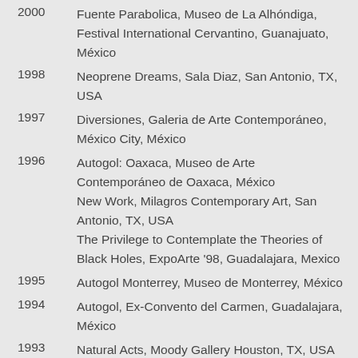2000  Fuente Parabolica, Museo de La Alhóndiga, Festival International Cervantino, Guanajuato, México
1998  Neoprene Dreams, Sala Diaz, San Antonio, TX, USA
1997  Diversiones, Galeria de Arte Contemporáneo, México City, México
1996  Autogol: Oaxaca, Museo de Arte Contemporáneo de Oaxaca, México
1996  New Work, Milagros Contemporary Art, San Antonio, TX, USA
1996  The Privilege to Contemplate the Theories of Black Holes, ExpoArte '98, Guadalajara, Mexico
1995  Autogol Monterrey, Museo de Monterrey, México
1994  Autogol, Ex-Convento del Carmen, Guadalajara, México
1993  Natural Acts, Moody Gallery Houston, TX, USA
1992  Arteria, Curare: Espacio Critico Para Las Artes, México City, México